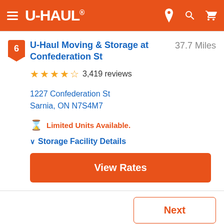[Figure (screenshot): U-Haul navigation bar with hamburger menu, U-Haul logo, and icons for location, search, and cart]
U-Haul Moving & Storage at Confederation St
37.7 Miles
3,419 reviews
1227 Confederation St
Sarnia, ON N7S4M7
Limited Units Available.
Storage Facility Details
View Rates
Next
Find Storage in Nearby Cities: